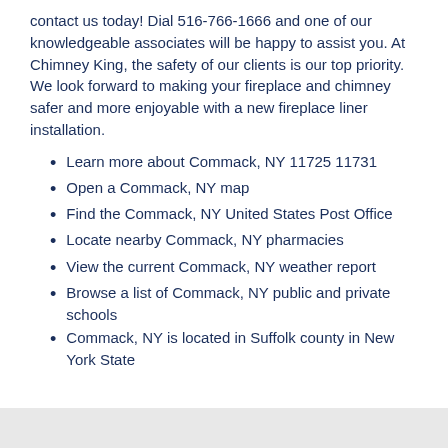contact us today! Dial 516-766-1666 and one of our knowledgeable associates will be happy to assist you. At Chimney King, the safety of our clients is our top priority. We look forward to making your fireplace and chimney safer and more enjoyable with a new fireplace liner installation.
Learn more about Commack, NY 11725 11731
Open a Commack, NY map
Find the Commack, NY United States Post Office
Locate nearby Commack, NY pharmacies
View the current Commack, NY weather report
Browse a list of Commack, NY public and private schools
Commack, NY is located in Suffolk county in New York State